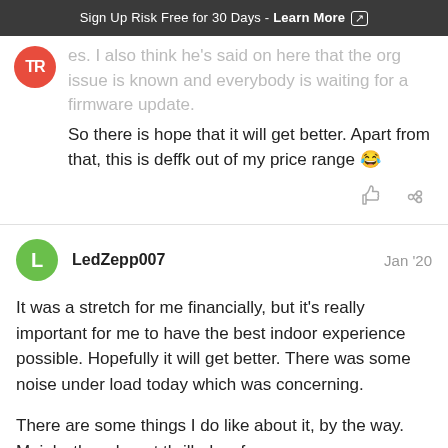Sign Up Risk Free for 30 Days - Learn More [external link]
es. I also think he's said on here that the org issue is known and everybody is waiting for a firmware update. So there is hope that it will get better. Apart from that, this is deffk out of my price range 😂
LedZepp007  Jan '20
It was a stretch for me financially, but it's really important for me to have the best indoor experience possible. Hopefully it will get better. There was some noise under load today which was concerning.

There are some things I do like about it, by the way. Mainly, though, not thrilled so far.